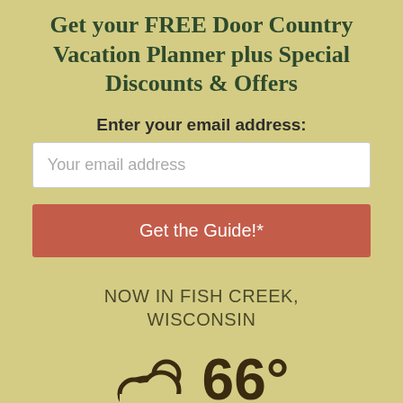Get your FREE Door Country Vacation Planner plus Special Discounts & Offers
Enter your email address:
Your email address
Get the Guide!*
NOW IN FISH CREEK, WISCONSIN
[Figure (illustration): Cloud weather icon with 66° temperature displayed]